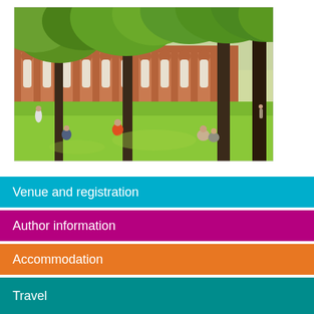[Figure (photo): University campus photo showing students sitting and relaxing on a green lawn under large leafy trees, with brick academic buildings with arched colonnades in the background on a sunny day.]
Venue and registration
Author information
Accommodation
Travel